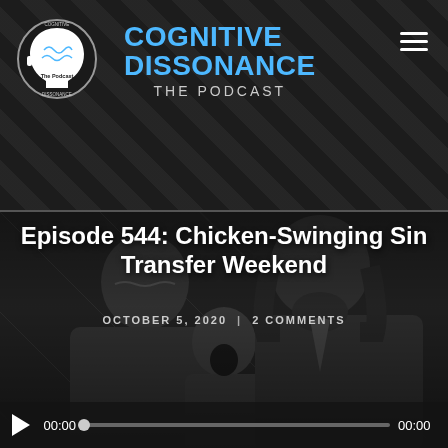[Figure (logo): Cognitive Dissonance podcast logo: white head silhouette with brain graphic and text]
COGNITIVE DISSONANCE
THE PODCAST
Episode 544: Chicken-Swinging Sin Transfer Weekend
OCTOBER 5, 2020  |  2 COMMENTS
[Figure (photo): Black and white photo of two men and a child, with audio player overlay at bottom showing 00:00 timestamp and progress bar]